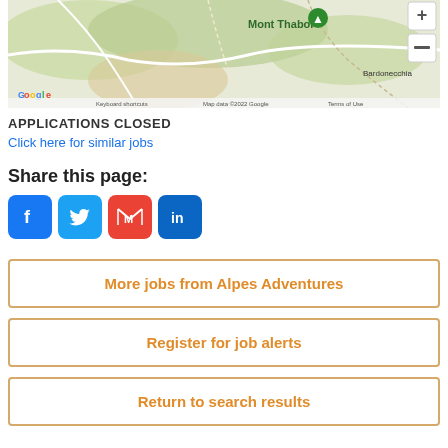[Figure (map): Google Maps screenshot showing Mont Thabor area with terrain, roads, zoom controls (+/-), Google logo, keyboard shortcuts, map data copyright 2022 Google, and Terms of Use. Bardonecchia visible in lower right.]
APPLICATIONS CLOSED
Click here for similar jobs
Share this page:
[Figure (infographic): Row of four social sharing icons: Facebook (blue), Twitter (light blue), Gmail (red), LinkedIn (dark blue)]
More jobs from Alpes Adventures
Register for job alerts
Return to search results